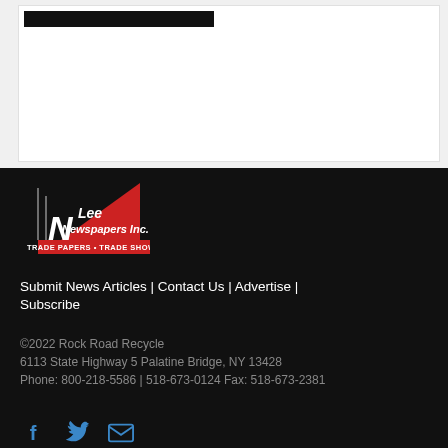[Figure (logo): NLee Newspapers Inc. logo with red triangle and text TRADE PAPERS + TRADE SHOWS]
Submit News Articles | Contact Us | Advertise | Subscribe
©2022 Rock Road Recycle
6113 State Highway 5 Palatine Bridge, NY 13428
Phone: 800-218-5586 | 518-673-0124 Fax: 518-673-2381
[Figure (illustration): Social media icons: Facebook, Twitter, Email]